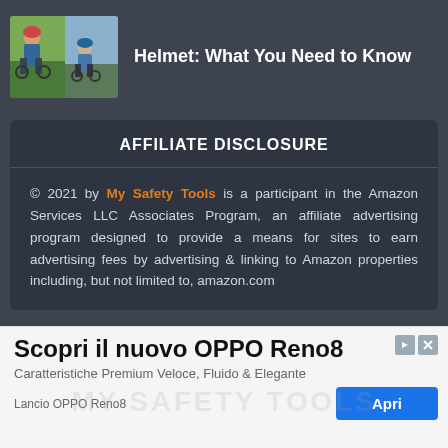[Figure (photo): Two cyclists wearing helmets on a trail, one adult and one child]
Helmet: What You Need to Know
AFFILIATE DISCLOSURE
© 2021 by My Safety Tools is a participant in the Amazon Services LLC Associates Program, an affiliate advertising program designed to provide a means for sites to earn advertising fees by advertising & linking to Amazon properties including, but not limited to, amazon.com
[Figure (infographic): Advertisement banner: Scopri il nuovo OPPO Reno8 — Caratteristiche Premium Veloce, Fluido & Elegante — Lancio OPPO Reno8 — Apri button]